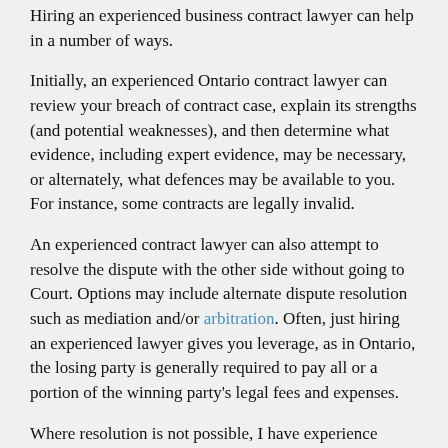Hiring an experienced business contract lawyer can help in a number of ways.
Initially, an experienced Ontario contract lawyer can review your breach of contract case, explain its strengths (and potential weaknesses), and then determine what evidence, including expert evidence, may be necessary, or alternately, what defences may be available to you. For instance, some contracts are legally invalid.
An experienced contract lawyer can also attempt to resolve the dispute with the other side without going to Court. Options may include alternate dispute resolution such as mediation and/or arbitration. Often, just hiring an experienced lawyer gives you leverage, as in Ontario, the losing party is generally required to pay all or a portion of the winning party's legal fees and expenses.
Where resolution is not possible, I have experience taking numerous breach of contract cases to Court and/or